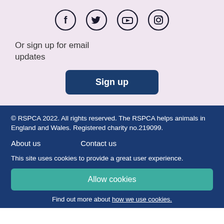[Figure (other): Social media icons: Facebook, Twitter, YouTube, Instagram in circles]
Or sign up for email updates
Sign up
© RSPCA 2022. All rights reserved. The RSPCA helps animals in England and Wales. Registered charity no.219099.
About us
Contact us
This site uses cookies to provide a great user experience.
Allow cookies
Find out more about how we use cookies.